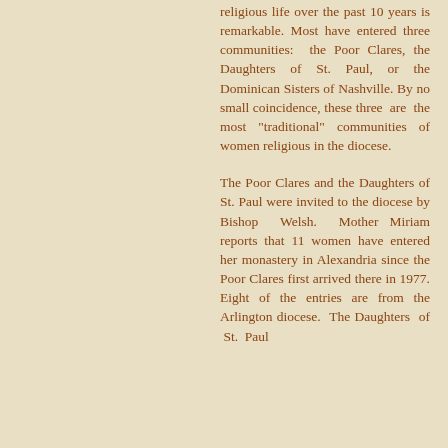religious life over the past 10 years is remarkable. Most have entered three communities: the Poor Clares, the Daughters of St. Paul, or the Dominican Sisters of Nashville. By no small coincidence, these three are the most "traditional" communities of women religious in the diocese.
The Poor Clares and the Daughters of St. Paul were invited to the diocese by Bishop Welsh. Mother Miriam reports that 11 women have entered her monastery in Alexandria since the Poor Clares first arrived there in 1977. Eight of the entries are from the Arlington diocese. The Daughters of St. Paul